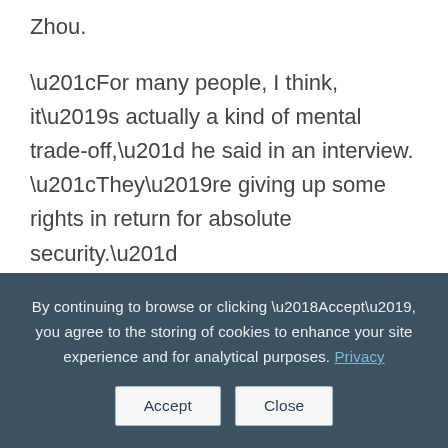Zhou.
“For many people, I think, it’s actually a kind of mental trade-off,” he said in an interview. “They’re giving up some rights in return for absolute security.”
The question is how long people will continue to find that exchange worthwhile. Already, social media users
By continuing to browse or clicking ‘Accept’, you agree to the storing of cookies to enhance your site experience and for analytical purposes. Privacy
Accept   Close